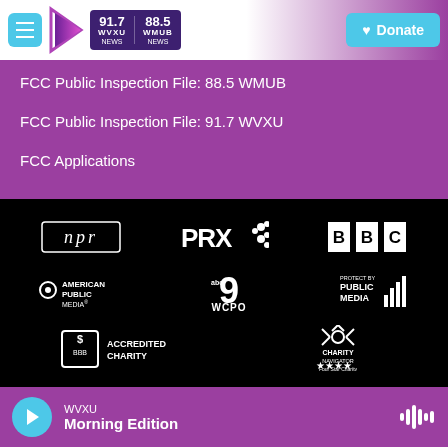WVXU 91.7 NEWS | 88.5 WMUB NEWS | Donate
FCC Public Inspection File: 88.5 WMUB
FCC Public Inspection File: 91.7 WVXU
FCC Applications
[Figure (logo): Partner and affiliate logos: NPR, PRX, BBC, American Public Media, WCPO 9abc, Protect by Public Media, BBB Accredited Charity, Charity Navigator 4-star]
WVXU Morning Edition